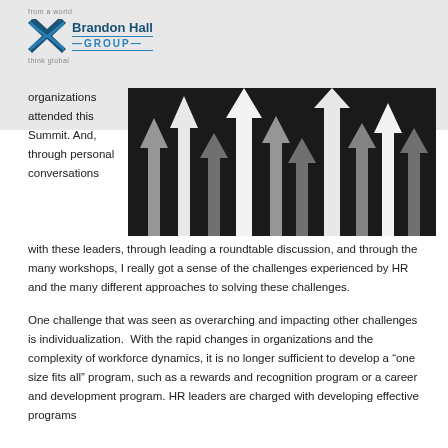[Figure (logo): Brandon Hall Group logo with stylized X icon in blue]
[Figure (photo): Black and white photo of multiple upward-pointing arrows of varying sizes against a dark background]
organizations attended this Summit. And, through personal conversations with these leaders, through leading a roundtable discussion, and through the many workshops, I really got a sense of the challenges experienced by HR and the many different approaches to solving these challenges.
One challenge that was seen as overarching and impacting other challenges is individualization.  With the rapid changes in organizations and the complexity of workforce dynamics, it is no longer sufficient to develop a “one size fits all” program, such as a rewards and recognition program or a career and development program. HR leaders are charged with developing effective programs